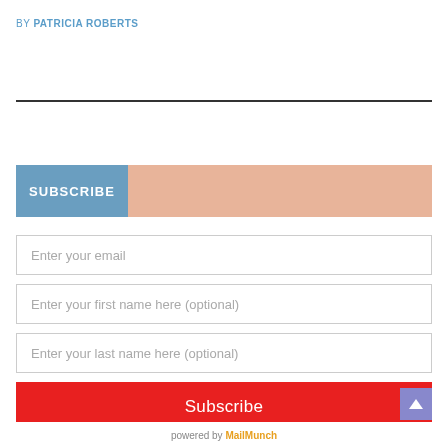BY PATRICIA ROBERTS
[Figure (other): Horizontal dark divider line]
SUBSCRIBE
Enter your email
Enter your first name here (optional)
Enter your last name here (optional)
Subscribe
powered by MailMunch